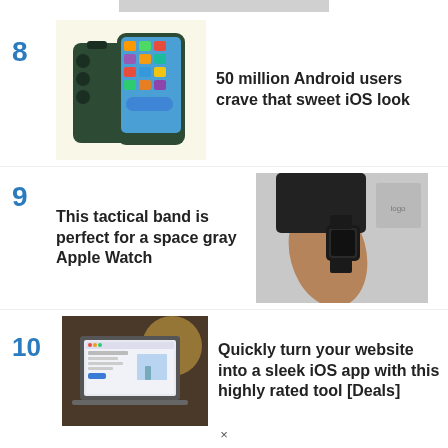[Figure (other): Gray bar at top of page]
8  50 million Android users crave that sweet iOS look
[Figure (photo): Green Samsung Android smartphone shown front and back on pale yellow background]
9  This tactical band is perfect for a space gray Apple Watch
[Figure (photo): Person wearing dark tactical Apple Watch band on wrist, gray background]
10  Quickly turn your website into a sleek iOS app with this highly rated tool [Deals]
[Figure (screenshot): Laptop screen showing a web app or website builder interface]
×